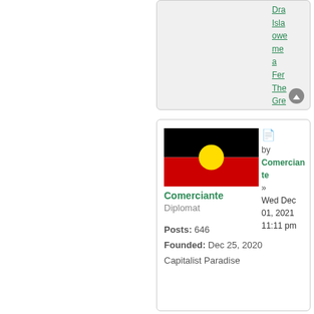[Figure (screenshot): Upper forum panel showing truncated green hyperlinks on right side: Dra, Isla, owe, me, a, Fer, The, Gre, Thr with a scroll-up button]
[Figure (photo): Australian Aboriginal Flag: black top half, red bottom half, yellow circle in center]
Comerciante
Diplomat
Posts: 646
Founded: Dec 25, 2020
Capitalist Paradise
by Comerciante » Wed Dec 01, 2021 11:11 pm